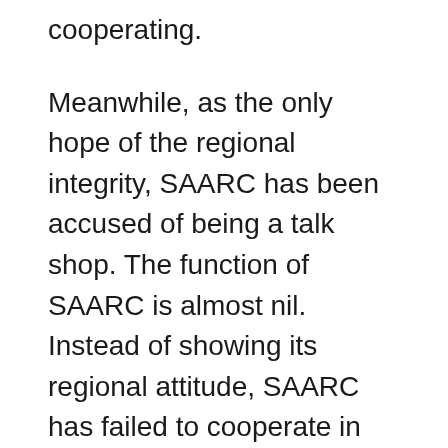cooperating.
Meanwhile, as the only hope of the regional integrity, SAARC has been accused of being a talk shop. The function of SAARC is almost nil. Instead of showing its regional attitude, SAARC has failed to cooperate in beneficial sectors like trade and tourism. Interstate and intrastate issues like terrorism, fake currency, human trafficking are among the major issues which SAARC has failed to address.
Security complexities, which are common and only can, deter collectively, but in terms of South Asia, have only created a scenario of mistrust among the nations. While collective